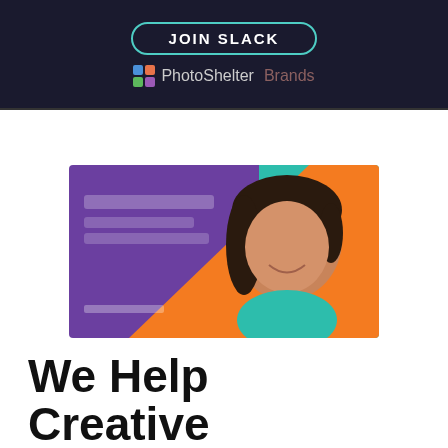JOIN SLACK
[Figure (logo): PhotoShelter Brands logo with colorful icon]
[Figure (photo): Promotional image with colorful abstract background (purple, orange, teal) and a woman smiling, likely a webinar or event banner]
We Help Creative People Thrive